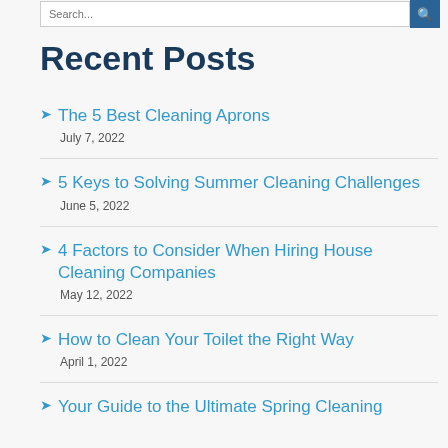The 5 Best Cleaning Aprons
July 7, 2022
5 Keys to Solving Summer Cleaning Challenges
June 5, 2022
4 Factors to Consider When Hiring House Cleaning Companies
May 12, 2022
How to Clean Your Toilet the Right Way
April 1, 2022
Your Guide to the Ultimate Spring Cleaning